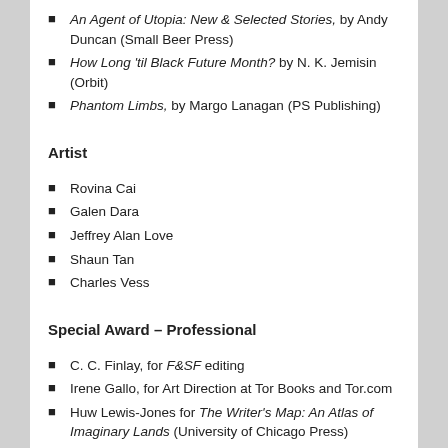An Agent of Utopia: New & Selected Stories, by Andy Duncan (Small Beer Press)
How Long 'til Black Future Month? by N. K. Jemisin (Orbit)
Phantom Limbs, by Margo Lanagan (PS Publishing)
Artist
Rovina Cai
Galen Dara
Jeffrey Alan Love
Shaun Tan
Charles Vess
Special Award – Professional
C. C. Finlay, for F&SF editing
Irene Gallo, for Art Direction at Tor Books and Tor.com
Huw Lewis-Jones for The Writer's Map: An Atlas of Imaginary Lands (University of Chicago Press)
Catherine McIlwaine for Tolkien: Maker of Middle-